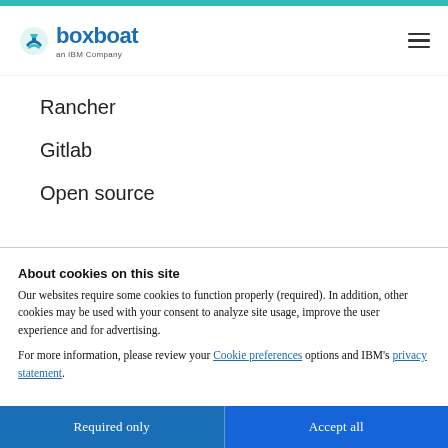boxboat – an IBM Company
Rancher
Gitlab
Open source
About cookies on this site
Our websites require some cookies to function properly (required). In addition, other cookies may be used with your consent to analyze site usage, improve the user experience and for advertising.

For more information, please review your Cookie preferences options and IBM's privacy statement.